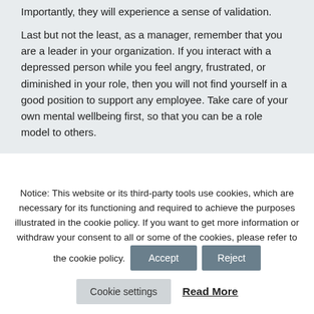Importantly, they will experience a sense of validation.
Last but not the least, as a manager, remember that you are a leader in your organization. If you interact with a depressed person while you feel angry, frustrated, or diminished in your role, then you will not find yourself in a good position to support any employee. Take care of your own mental wellbeing first, so that you can be a role model to others.
Notice: This website or its third-party tools use cookies, which are necessary for its functioning and required to achieve the purposes illustrated in the cookie policy. If you want to get more information or withdraw your consent to all or some of the cookies, please refer to the cookie policy.
Accept
Reject
Cookie settings
Read More